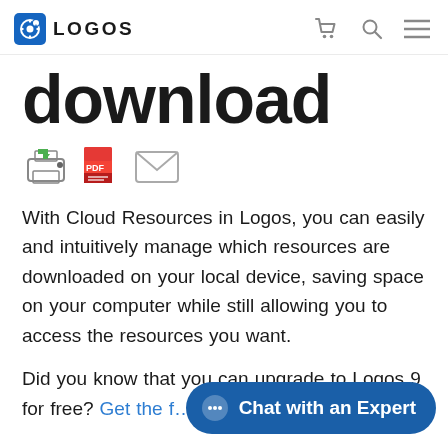LOGOS
download
[Figure (illustration): Three small icons: a printer with green arrow, a red PDF icon, and an envelope icon]
With Cloud Resources in Logos, you can easily and intuitively manage which resources are downloaded on your local device, saving space on your computer while still allowing you to access the resources you want.
Did you know that you can upgrade to Logos 9 for free? Get the f…